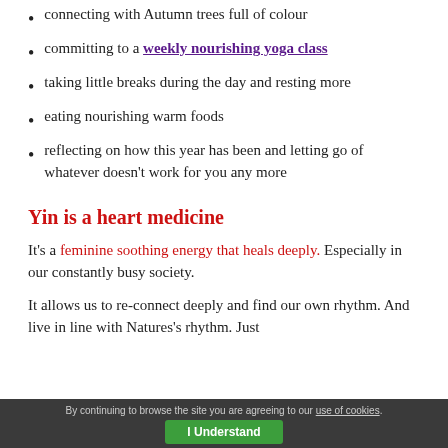connecting with Autumn trees full of colour
committing to a weekly nourishing yoga class
taking little breaks during the day and resting more
eating nourishing warm foods
reflecting on how this year has been and letting go of whatever doesn't work for you any more
Yin is a heart medicine
It's a feminine soothing energy that heals deeply. Especially in our constantly busy society.
It allows us to re-connect deeply and find our own rhythm. And live in line with Natures's rhythm. Just
By continuing to browse the site you are agreeing to our use of cookies. I Understand